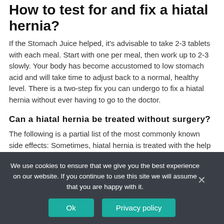How to test for and fix a hiatal hernia?
If the Stomach Juice helped, it's advisable to take 2-3 tablets with each meal. Start with one per meal, then work up to 2-3 slowly. Your body has become accustomed to low stomach acid and will take time to adjust back to a normal, healthy level. There is a two-step fix you can undergo to fix a hiatal hernia without ever having to go to the doctor.
Can a hiatal hernia be treated without surgery?
The following is a partial list of the most commonly known side effects: Sometimes, hiatal hernia is treated with the help of a minor surgery. The surgeon does this process to put the stomach back into its place, to correct the hernia.
We use cookies to ensure that we give you the best experience on our website. If you continue to use this site we will assume that you are happy with it.